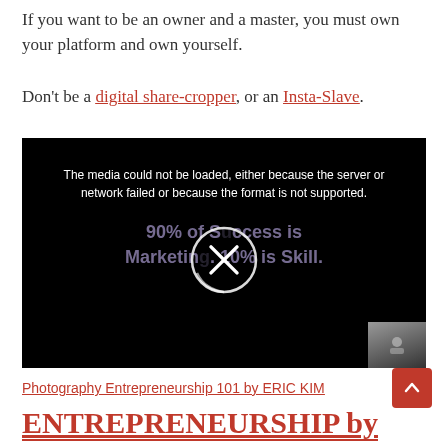If you want to be an owner and a master, you must own your platform and own yourself.
Don't be a digital share-cropper, or an Insta-Slave.
[Figure (screenshot): Embedded video player showing error message 'The media could not be loaded, either because the server or network failed or because the format is not supported.' with overlay text '90% of Success is Marketing. 10% is Skill.' and a circular play/close button in the center.]
Photography Entrepreneurship 101 by ERIC KIM
ENTREPRENEURSHIP by KIM